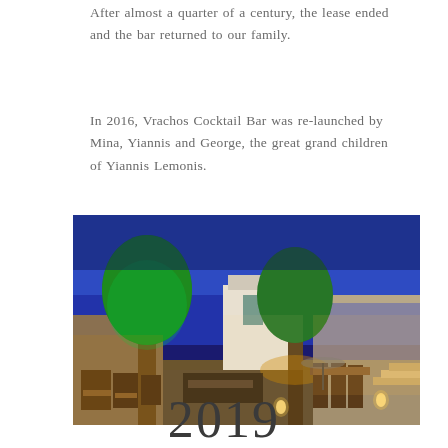After almost a quarter of a century, the lease ended and the bar returned to our family.
In 2016, Vrachos Cocktail Bar was re-launched by Mina, Yiannis and George, the great grand children of Yiannis Lemonis.
[Figure (photo): Outdoor bar/restaurant at night with illuminated trees and seating area, stone buildings in background lit with warm lights against a deep blue sky.]
2019